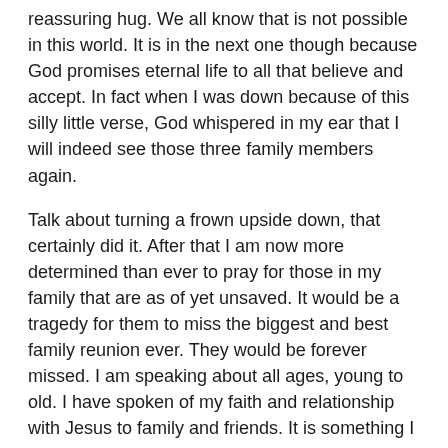reassuring hug. We all know that is not possible in this world. It is in the next one though because God promises eternal life to all that believe and accept. In fact when I was down because of this silly little verse, God whispered in my ear that I will indeed see those three family members again.
Talk about turning a frown upside down, that certainly did it. After that I am now more determined than ever to pray for those in my family that are as of yet unsaved. It would be a tragedy for them to miss the biggest and best family reunion ever. They would be forever missed. I am speaking about all ages, young to old. I have spoken of my faith and relationship with Jesus to family and friends. It is something I gladly do but do not want to force the conversation. Praying is different. I will pray for them daily, multiple times, to be saved. That their stubborn, hard hearts will soften so that they will accept Jesus is my prayer for many family and friends.